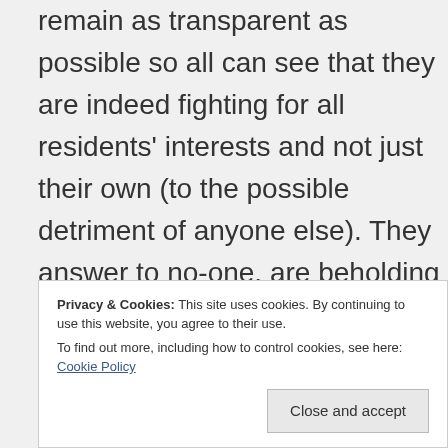remain as transparent as possible so all can see that they are indeed fighting for all residents' interests and not just their own (to the possible detriment of anyone else). They answer to no-one, are beholding to no-one, and owe no-one. Since it's inception the DSRA has not campaigned on a single
Privacy & Cookies: This site uses cookies. By continuing to use this website, you agree to their use. To find out more, including how to control cookies, see here: Cookie Policy
Close and accept